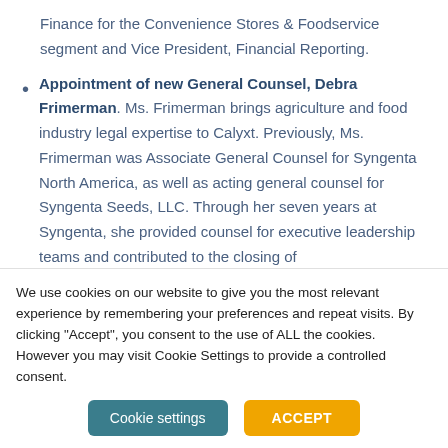Finance for the Convenience Stores & Foodservice segment and Vice President, Financial Reporting.
Appointment of new General Counsel, Debra Frimerman. Ms. Frimerman brings agriculture and food industry legal expertise to Calyxt. Previously, Ms. Frimerman was Associate General Counsel for Syngenta North America, as well as acting general counsel for Syngenta Seeds, LLC. Through her seven years at Syngenta, she provided counsel for executive leadership teams and contributed to the closing of
We use cookies on our website to give you the most relevant experience by remembering your preferences and repeat visits. By clicking "Accept", you consent to the use of ALL the cookies. However you may visit Cookie Settings to provide a controlled consent.